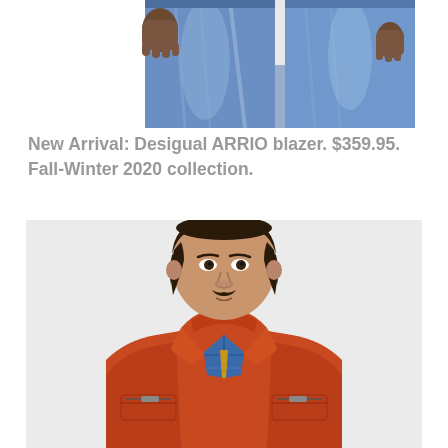[Figure (photo): Cropped photo showing the lower body of a person wearing blue jeans, white background]
New Arrival: Desigual ARRIO blazer. $359.95. Fall-Winter 2020 collection.
[Figure (photo): Young man with brown wavy hair and mustache wearing an orange/rust leather jacket over a blue plaid shirt, photographed against a light gray background]